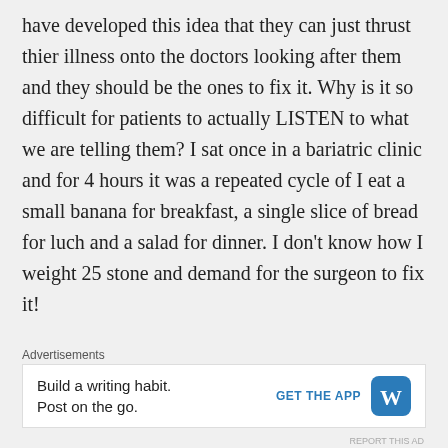have developed this idea that they can just thrust thier illness onto the doctors looking after them and they should be the ones to fix it. Why is it so difficult for patients to actually LISTEN to what we are telling them? I sat once in a bariatric clinic and for 4 hours it was a repeated cycle of I eat a small banana for breakfast, a single slice of bread for luch and a salad for dinner. I don't know how I weight 25 stone and demand for the surgeon to fix it!

I can however appreciate that unless you are in a position of responsibility for
Advertisements
Build a writing habit. Post on the go. GET THE APP